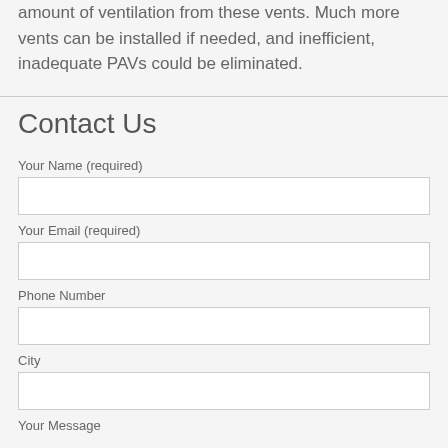amount of ventilation from these vents. Much more vents can be installed if needed, and inefficient, inadequate PAVs could be eliminated.
Contact Us
Your Name (required)
Your Email (required)
Phone Number
City
Your Message